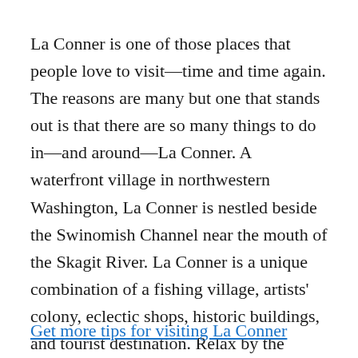La Conner is one of those places that people love to visit—time and time again. The reasons are many but one that stands out is that there are so many things to do in—and around—La Conner. A waterfront village in northwestern Washington, La Conner is nestled beside the Swinomish Channel near the mouth of the Skagit River. La Conner is a unique combination of a fishing village, artists' colony, eclectic shops, historic buildings, and tourist destination. Relax by the water, enjoy fine restaurants, and browse through unique shops and art galleries.
Get more tips for visiting La Conner